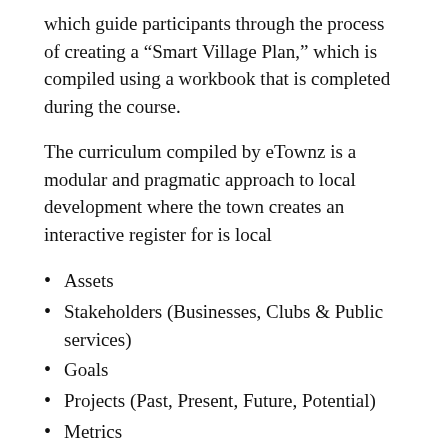which guide participants through the process of creating a “Smart Village Plan,” which is compiled using a workbook that is completed during the course.
The curriculum compiled by eTownz is a modular and pragmatic approach to local development where the town creates an interactive register for is local
Assets
Stakeholders (Businesses, Clubs & Public services)
Goals
Projects (Past, Present, Future, Potential)
Metrics
Once the plan is prepared it is reviewed annually in an inclusive manner by all local stakeholders. Each record and goal is maintained, moving projects through their lifecycle, ensuring continuous community it